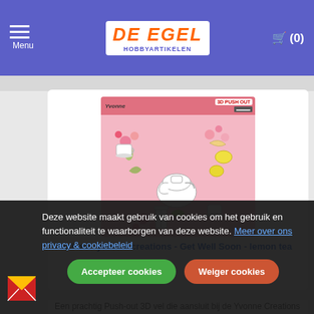Menu | De Egel Hobbyartikelen | Cart (0)
[Figure (photo): Product image of Pushout 3D sheet by Yvonne Creations - Get Well Soon - lemon tea theme, showing teapots, cups, lemons and flowers on a pink background]
Pushout -yvonne creations - Get Well Soon - lemon tea
Een prachtig Push-out 3D vel die aansluit bij de Yvonne Creations Get Well Soon collectie. De plaatjes zijn handig
Deze website maakt gebruik van cookies om het gebruik en functionaliteit te waarborgen van deze website. Meer over ons privacy & cookiebeleid
Accepteer cookies
Weiger cookies